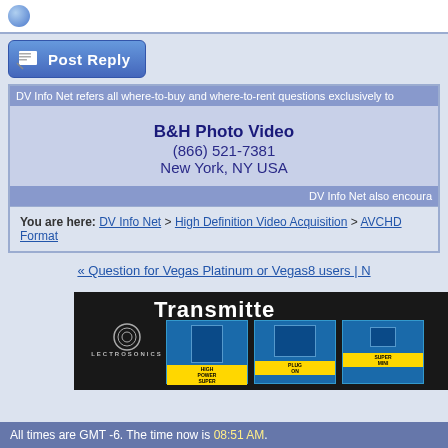[Figure (screenshot): Top portion showing avatar icon in a white bar]
[Figure (screenshot): Post Reply button with pencil/paper icon]
DV Info Net refers all where-to-buy and where-to-rent questions exclusively to...
B&H Photo Video
(866) 521-7381
New York, NY USA
DV Info Net also encoura...
You are here: DV Info Net > High Definition Video Acquisition > AVCHD Format...
« Question for Vegas Platinum or Vegas8 users | N...
[Figure (photo): Lectrosonics transmitter advertisement banner showing multiple transmitter products]
All times are GMT -6. The time now is 08:51 AM.